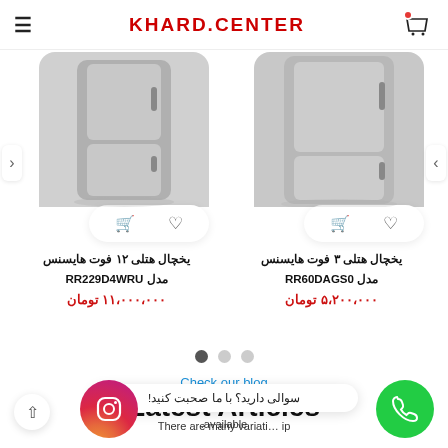KHARD.CENTER
[Figure (photo): Product image: یخچال هتلی ۱۲ فوت هایسنس مدل RR229D4WRU - grey refrigerator with action buttons]
یخچال هتلی ۱۲ فوت هایسنس
مدل RR229D4WRU
۱۱،۰۰۰،۰۰۰ تومان
[Figure (photo): Product image: یخچال هتلی ۳ فوت هایسنس مدل RR60DAGS0 - grey refrigerator with action buttons]
یخچال هتلی ۳ فوت هایسنس
مدل RR60DAGS0
۵،۲۰۰،۰۰۰ تومان
Check our blog
Latest Articles
There are many variati... available
سوالی دارید؟ با ما صحبت کنید!